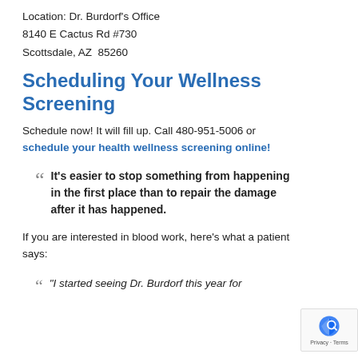Location: Dr. Burdorf's Office
8140 E Cactus Rd #730
Scottsdale, AZ  85260
Scheduling Your Wellness Screening
Schedule now! It will fill up. Call 480-951-5006 or schedule your health wellness screening online!
It’s easier to stop something from happening in the first place than to repair the damage after it has happened.
If you are interested in blood work, here’s what a patient says:
“I started seeing Dr. Burdorf this year for